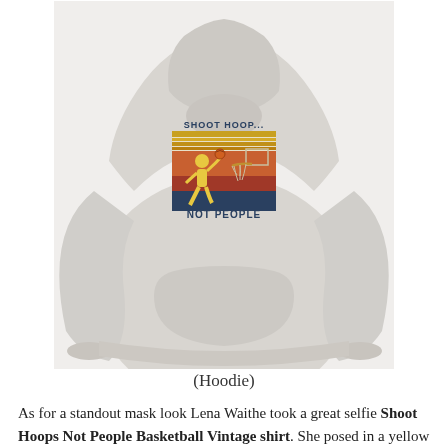[Figure (photo): A light gray hoodie sweatshirt displayed on a ghost mannequin. The hoodie has a graphic print on the chest area showing a vintage-style basketball scene with a player shooting a hoop, horizontal color stripes (gold, orange, red, dark blue), and the text 'SHOOT HOOP... NOT PEOPLE'.]
(Hoodie)
As for a standout mask look Lena Waithe took a great selfie Shoot Hoops Not People Basketball Vintage shirt. She posed in a yellow beanie by the label Color